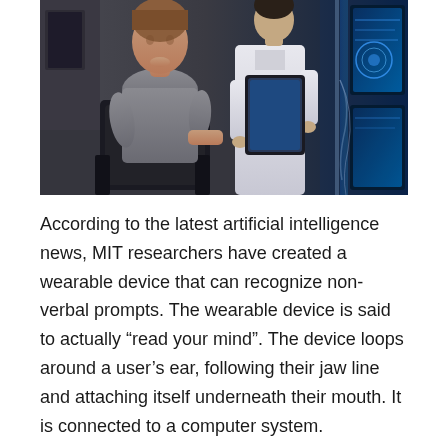[Figure (photo): A woman seated in a chair in a high-tech laboratory setting, with a doctor in a white coat holding a tablet standing beside her. Blue-lit computer screens and equipment are visible in the background.]
According to the latest artificial intelligence news, MIT researchers have created a wearable device that can recognize non-verbal prompts. The wearable device is said to actually “read your mind”. The device loops around a user’s ear, following their jaw line and attaching itself underneath their mouth. It is connected to a computer system.